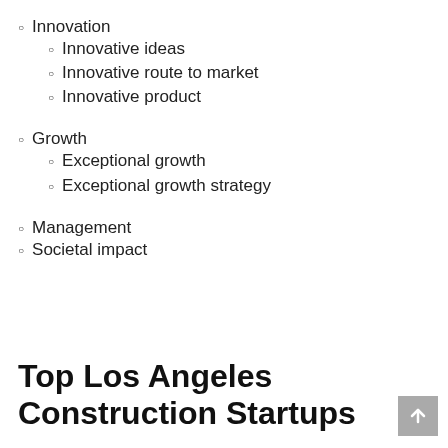Innovation
Innovative ideas
Innovative route to market
Innovative product
Growth
Exceptional growth
Exceptional growth strategy
Management
Societal impact
Top Los Angeles Construction Startups